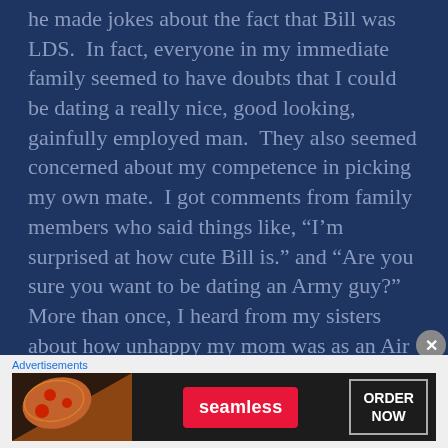he made jokes about the fact that Bill was LDS.  In fact, everyone in my immediate family seemed to have doubts that I could be dating a really nice, good looking, gainfully employed man.  They also seemed concerned about my competence in picking my own mate.  I got comments from family members who said things like, “I’m surprised at how cute Bill is.” and “Are you sure you want to be dating an Army guy?”  More than once, I heard from my sisters about how unhappy my mom was as an Air Force wife.
[Figure (other): Seamless food delivery advertisement banner with pizza image on left, red Seamless logo button in center, and ORDER NOW button on right, on dark background]